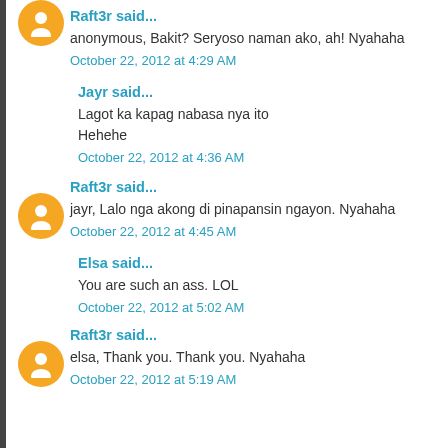Raft3r said...
anonymous, Bakit? Seryoso naman ako, ah! Nyahaha
October 22, 2012 at 4:29 AM
Jayr said...
Lagot ka kapag nabasa nya ito
Hehehe
October 22, 2012 at 4:36 AM
Raft3r said...
jayr, Lalo nga akong di pinapansin ngayon. Nyahaha
October 22, 2012 at 4:45 AM
Elsa said...
You are such an ass. LOL
October 22, 2012 at 5:02 AM
Raft3r said...
elsa, Thank you. Thank you. Nyahaha
October 22, 2012 at 5:19 AM